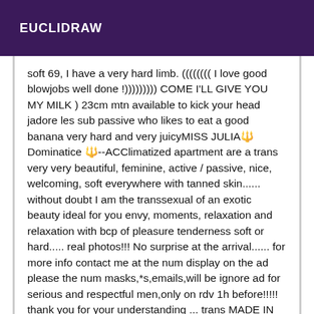EUCLIDRAW
soft 69, I have a very hard limb. (((((((( I love good blowjobs well done !))))))))) COME I'LL GIVE YOU MY MILK ) 23cm mtn available to kick your head jadore les sub passive who likes to eat a good banana very hard and very juicyMISS JULIA🔱Dominatice 🔱--ACClimatized apartment are a trans very very beautiful, feminine, active / passive, nice, welcoming, soft everywhere with tanned skin...... without doubt I am the transsexual of an exotic beauty ideal for you envy, moments, relaxation and relaxation with bcp of pleasure tenderness soft or hard..... real photos!!! No surprise at the arrival...... for more info contact me at the num display on the ad please the num masks,*s,emails,will be ignore ad for serious and respectful men,only on rdv 1h before!!!!! thank you for your understanding ... trans MADE IN BRAZIL ; 25s , hot, dreamy body, I am what you call a real bitch, and I have the ability to satisfy you!! a superb trans and BEAUTIFUL, CLASSIC AND REFINED of